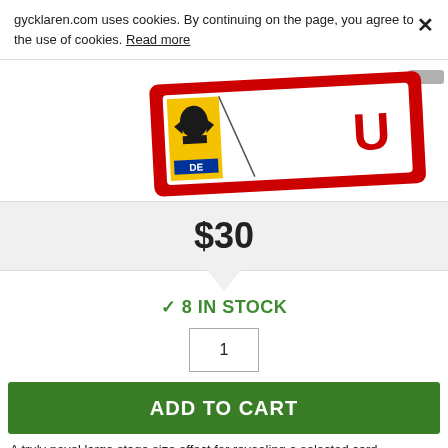gycklaren.com uses cookies. By continuing on the page, you agree to the use of cookies. Read more
[Figure (photo): Partial view of a German license plate with red border, eagle emblem on yellow/black background, and partial letters visible]
$30
✓ 8 IN STOCK
1
ADD TO CART
A truly novel large stage size effect for revealing a selected card